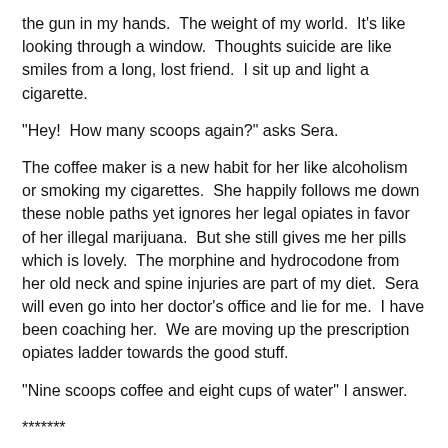the gun in my hands.  The weight of my world.  It's like looking through a window.  Thoughts suicide are like smiles from a long, lost friend.  I sit up and light a cigarette.
"Hey!  How many scoops again?" asks Sera.
The coffee maker is a new habit for her like alcoholism or smoking my cigarettes.  She happily follows me down these noble paths yet ignores her legal opiates in favor of her illegal marijuana.  But she still gives me her pills which is lovely.  The morphine and hydrocodone from her old neck and spine injuries are part of my diet.  Sera will even go into her doctor's office and lie for me.  I have been coaching her.  We are moving up the prescription opiates ladder towards the good stuff.
"Nine scoops coffee and eight cups of water" I answer.
*******
Yesterday afternoon.